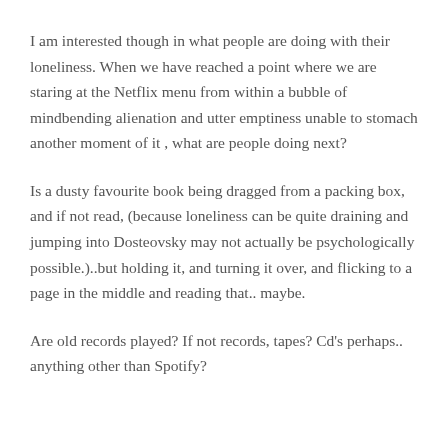I am interested though in what people are doing with their loneliness. When we have reached a point where we are staring at the Netflix menu from within a bubble of mindbending alienation and utter emptiness unable to stomach another moment of it , what are people doing next?
Is a dusty favourite book being dragged from a packing box, and if not read, (because loneliness can be quite draining and jumping into Dosteovsky may not actually be psychologically possible.)..but holding it, and turning it over, and flicking to a page in the middle and reading that.. maybe.
Are old records played? If not records, tapes? Cd's perhaps.. anything other than Spotify?